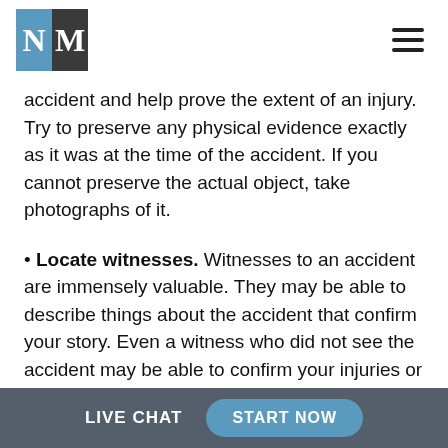MN Law logo and navigation menu
accident and help prove the extent of an injury. Try to preserve any physical evidence exactly as it was at the time of the accident. If you cannot preserve the actual object, take photographs of it.
Locate witnesses. Witnesses to an accident are immensely valuable. They may be able to describe things about the accident that confirm your story. Even a witness who did not see the accident may be able to confirm your injuries or overheard a conversation that could prove someone else's fault.
LIVE CHAT   START NOW